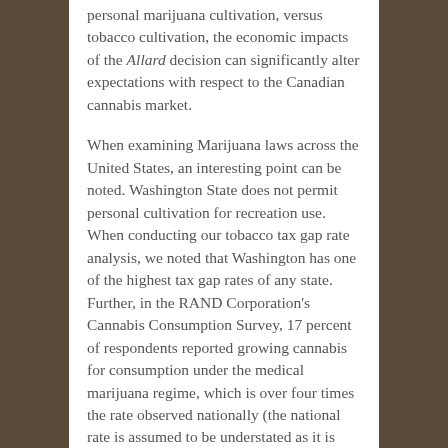personal marijuana cultivation, versus tobacco cultivation, the economic impacts of the Allard decision can significantly alter expectations with respect to the Canadian cannabis market.
When examining Marijuana laws across the United States, an interesting point can be noted. Washington State does not permit personal cultivation for recreation use. When conducting our tobacco tax gap rate analysis, we noted that Washington has one of the highest tax gap rates of any state. Further, in the RAND Corporation's Cannabis Consumption Survey, 17 percent of respondents reported growing cannabis for consumption under the medical marijuana regime, which is over four times the rate observed nationally (the national rate is assumed to be understated as it is reported in the context of illegal personal cultivation). Though we cannot conclude